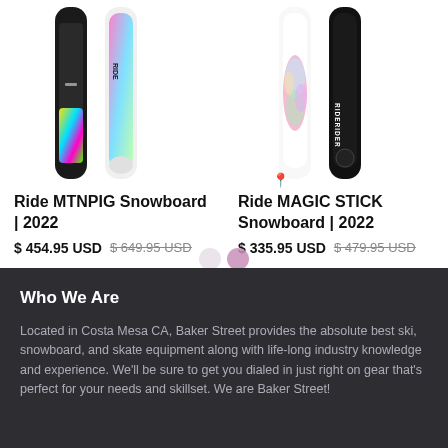[Figure (photo): Two snowboards shown vertically - Ride MTNPIG Snowboard 2022, dark with colorful neon graphics]
Ride MTNPIG Snowboard | 2022
$ 454.95 USD $ 649.95 USD
[Figure (photo): Two snowboards shown vertically - Ride MAGIC STICK Snowboard 2022, white and black]
Ride MAGIC STICK Snowboard | 2022
$ 335.95 USD $ 479.95 USD
Who We Are
Located in Costa Mesa CA, Baker Street provides the absolute best ski, snowboard, and skate equipment along with life-long industry knowledge and experience. We'll be sure to get you dialed in just right on gear that's perfect for your needs and skillset. We are Baker Street!